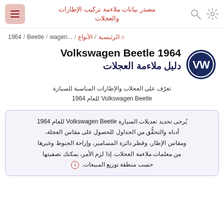مصدر بيانات ملاءمة تركيب الإطارات والعجلات
الرئيسية / الأنواع / ...wagen / Beetle / 1964
Volkswagen Beetle 1964 دليل ملاءمة العجلات
تعرّف على العجلات والإطارات المناسبة للسيارة Volkswagen Beetle للعام 1964
يُرجى تحديد تعديلات السيارة Volkswagen Beetle للعام 1964 أدناه والتحقُّق من الجداول للحصول على مقاس العجلة، ومقاس الإطار، وقطر دائرة المسامير، وإزاحة الجنوط وغيرها من معلمات ملاءمة العجلات. إذا لزم الأمر، يمكنك تصفيتها حسب منطقة توزيع المبيعات.